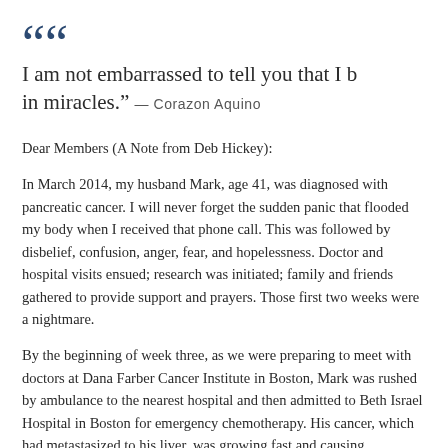“I am not embarrassed to tell you that I b in miracles.” — Corazon Aquino
Dear Members (A Note from Deb Hickey):
In March 2014, my husband Mark, age 41, was diagnosed with pancreatic cancer. I will never forget the sudden panic that flooded my body when I received that phone call. This was followed by disbelief, confusion, anger, fear, and hopelessness. Doctor and hospital visits ensued; research was initiated; family and friends gathered to provide support and prayers. Those first two weeks were a nightmare.
By the beginning of week three, as we were preparing to meet with doctors at Dana Farber Cancer Institute in Boston, Mark was rushed by ambulance to the nearest hospital and then admitted to Beth Israel Hospital in Boston for emergency chemotherapy. His cancer, which had metastasized to his liver, was growing fast and causing